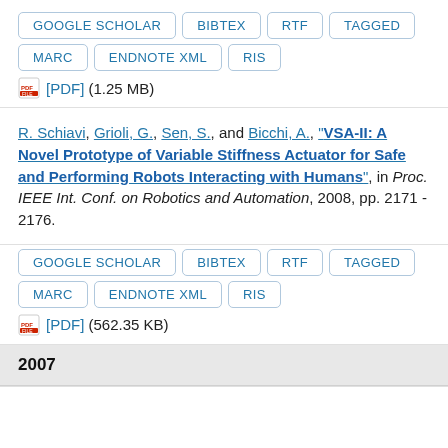Buttons: GOOGLE SCHOLAR, BIBTEX, RTF, TAGGED, MARC, ENDNOTE XML, RIS
[PDF] (1.25 MB)
R. Schiavi, Grioli, G., Sen, S., and Bicchi, A., "VSA-II: A Novel Prototype of Variable Stiffness Actuator for Safe and Performing Robots Interacting with Humans", in Proc. IEEE Int. Conf. on Robotics and Automation, 2008, pp. 2171 - 2176.
Buttons: GOOGLE SCHOLAR, BIBTEX, RTF, TAGGED, MARC, ENDNOTE XML, RIS
[PDF] (562.35 KB)
2007